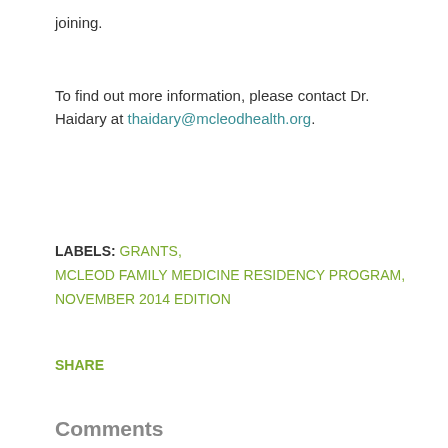joining.
To find out more information, please contact Dr. Haidary at thaidary@mcleodhealth.org.
LABELS: GRANTS, MCLEOD FAMILY MEDICINE RESIDENCY PROGRAM, NOVEMBER 2014 EDITION
SHARE
Comments
Unknown said… A lot more healthcare institutions are utilizing the most recent evidenced-based, result-driven